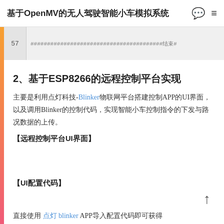基于OpenMV的无人驾驶智能小车模拟系统
57    ########################################结束#
2、基于ESP8266的远程控制平台实现
主要是利用点灯科技-Blinker物联网平台搭建控制APP的UI界面，以及调用Blinker的控制代码，实现智能小车控制指令的下发与路况数据的上传。
【远程控制平台UI界面】
【UI配置代码】
直接使用 点灯 blinker APP导入配置代码即可获得